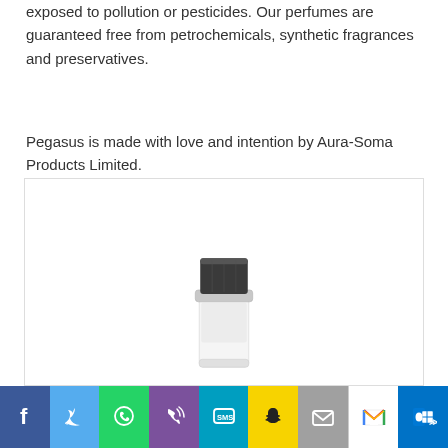exposed to pollution or pesticides. Our perfumes are guaranteed free from petrochemicals, synthetic fragrances and preservatives.
Pegasus is made with love and intention by Aura-Soma Products Limited.
[Figure (photo): A small perfume/cream bottle with a dark cylindrical cap and silver rim, shown at the bottom of a white bordered image box.]
Social sharing bar with icons: Facebook, Twitter, WhatsApp, Phone, SMS, Snapchat, Email, Gmail, Outlook